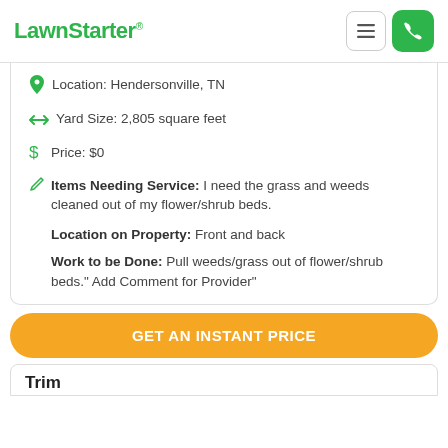LawnStarter
Location: Hendersonville, TN
Yard Size: 2,805 square feet
Price: $0
Items Needing Service: I need the grass and weeds cleaned out of my flower/shrub beds.
Location on Property: Front and back
Work to be Done: Pull weeds/grass out of flower/shrub beds." Add Comment for Provider"
GET AN INSTANT PRICE